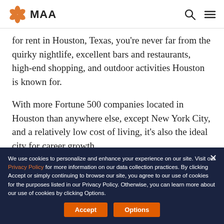MAA
for rent in Houston, Texas, you're never far from the quirky nightlife, excellent bars and restaurants, high-end shopping, and outdoor activities Houston is known for.
With more Fortune 500 companies located in Houston than anywhere else, except New York City, and a relatively low cost of living, it's also the ideal city for career growth.
We use cookies to personalize and enhance your experience on our site. Visit our Privacy Policy for more information on our data collection practices. By clicking Accept or simply continuing to browse our site, you agree to our use of cookies for the purposes listed in our Privacy Policy. Otherwise, you can learn more about our use of cookies by clicking Options.